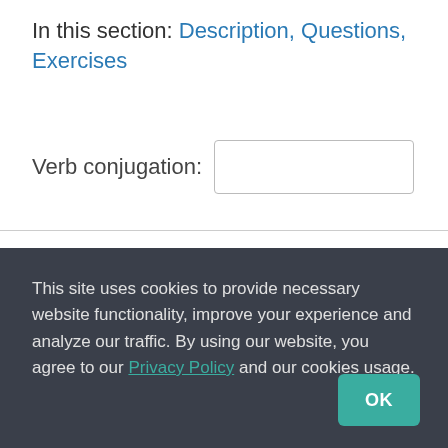In this section: Description, Questions, Exercises
Verb conjugation: [input box]
Search the Guide: [search button]
This site uses cookies to provide necessary website functionality, improve your experience and analyze our traffic. By using our website, you agree to our Privacy Policy and our cookies usage.
OK